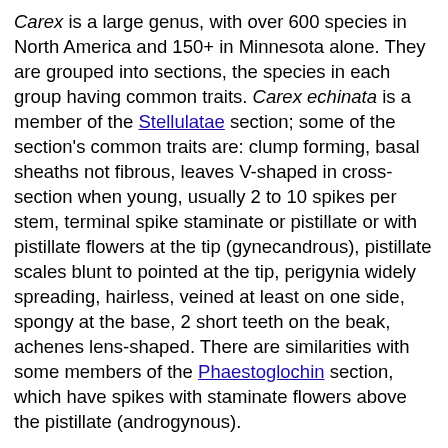Carex is a large genus, with over 600 species in North America and 150+ in Minnesota alone. They are grouped into sections, the species in each group having common traits. Carex echinata is a member of the Stellulatae section; some of the section's common traits are: clump forming, basal sheaths not fibrous, leaves V-shaped in cross-section when young, usually 2 to 10 spikes per stem, terminal spike staminate or pistillate or with pistillate flowers at the tip (gynecandrous), pistillate scales blunt to pointed at the tip, perigynia widely spreading, hairless, veined at least on one side, spongy at the base, 2 short teeth on the beak, achenes lens-shaped. There are similarities with some members of the Phaestoglochin section, which have spikes with staminate flowers above the pistillate (androgynous).
Carex echinata is a variable species but may be distinguished from other Carex species by: 3 to 8 (commonly 4 to 6) gynecandrous spikes at the tip of the stem, crowded or not, 3 to 30 perigynia per spike, the terminal spike with a well-defined staminate portion and stalkless lateral spikes with few (or no) staminate flowers; perigynia 2.9 to 3.6 mm long, spongy at the base, widest at or near the base, veined on one or both sides, usually with a gradual taper to a beak at least half as long as the body; achenes lens-shaped, as long as or